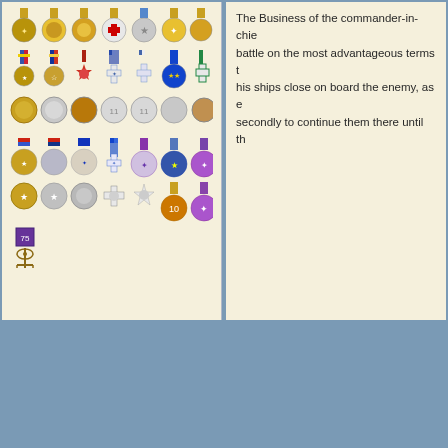[Figure (illustration): Grid of military medals and decorations arranged in rows, including various colored ribbons, crosses, stars, and anchor insignia on cream background]
The Business of the commander-in-chief is first to bring an enemy's fleet to battle on the most advantageous terms to himself, (I mean that of laying his ships close on board the enemy, as expeditiously as possible;) and secondly to continue them there until th
10-07-2017, 15:50
[Figure (photo): Portrait of a historical naval officer in dark uniform with epaulettes, oil painting style]
[Figure (illustration): Document/note icon in blue]
Tonight we welcome an old friend to Hawkhurst from Lincolnshire.


Rob.